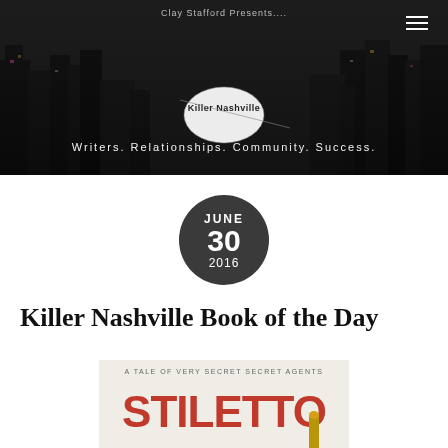[Figure (screenshot): Killer Nashville website header banner with dark cityscape background, logo, tagline 'Writers. Relationships. Community. Success.' and hamburger menu icon]
JUNE
30
2016
Killer Nashville Book of the Day
[Figure (photo): Book cover of Stiletto — A Tale of Very Secret Secret Agents, A Novel, with red bold title text on light background with bullet casing image]